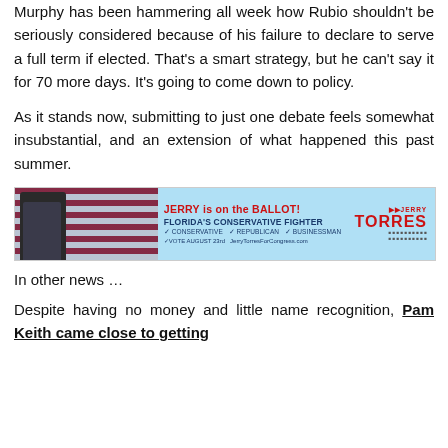Murphy has been hammering all week how Rubio shouldn't be seriously considered because of his failure to declare to serve a full term if elected. That's a smart strategy, but he can't say it for 70 more days. It's going to come down to policy.
As it stands now, submitting to just one debate feels somewhat insubstantial, and an extension of what happened this past summer.
[Figure (infographic): Campaign advertisement banner: JERRY is on the BALLOT! FLORIDA'S CONSERVATIVE FIGHTER. Conservative, Republican, Businessman. VOTE AUGUST 23rd JerryTorresForCongress.com. Jerry TORRES logo on right.]
In other news …
Despite having no money and little name recognition, Pam Keith came close to getting